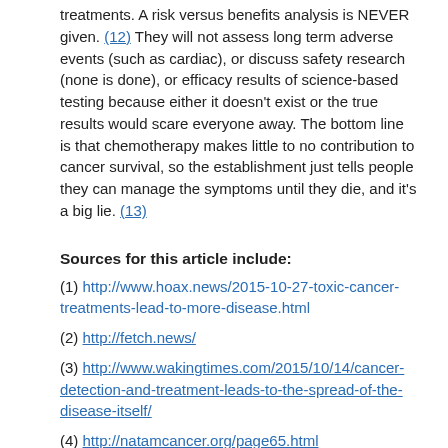treatments. A risk versus benefits analysis is NEVER given. (12) They will not assess long term adverse events (such as cardiac), or discuss safety research (none is done), or efficacy results of science-based testing because either it doesn't exist or the true results would scare everyone away. The bottom line is that chemotherapy makes little to no contribution to cancer survival, so the establishment just tells people they can manage the symptoms until they die, and it's a big lie. (13)
Sources for this article include:
(1) http://www.hoax.news/2015-10-27-toxic-cancer-treatments-lead-to-more-disease.html
(2) http://fetch.news/
(3) http://www.wakingtimes.com/2015/10/14/cancer-detection-and-treatment-leads-to-the-spread-of-the-disease-itself/
(4) http://natamcancer.org/page65.html
(5) http://www.townsendletter.com/Oct2011/cancer1011.html